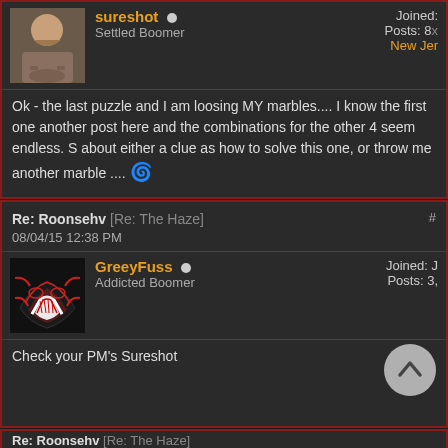sureshot — Settled Boomer | Posts: 8x | New Jer...
Ok - the last puzzle and I am loosing MY marbles.... I know the first one another post here and the combinations for the other 4 seem endless. S about either a clue as how to solve this one, or throw me another marble .... 🌀
Re: Roonsehv [Re: The Haze] #
08/04/15 12:38 PM
GreyFuss — Addicted Boomer | Joined: J | Posts: 3,
Check your PM's Sureshot
Re: Roonsehv [Re: The Haze]